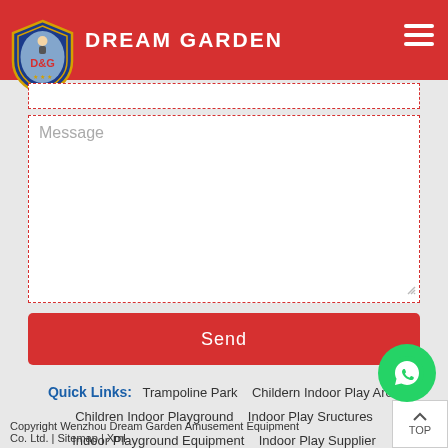[Figure (logo): Dream Garden D&G shield logo with red header bar and DREAM GARDEN text]
DREAM GARDEN
Message (placeholder in textarea)
Send
Quick Links: Trampoline Park  Childern Indoor Play Area  Children Indoor Playground  Indoor Play Sructures  Indoor Playground Equipment  Indoor Play ... Supplier  Kids Indoor Playground  Indoor Playgr... ctory
Copyright Wenzhou Dream Garden Amusement Equipment Co. Ltd. | Sitemap | Xml